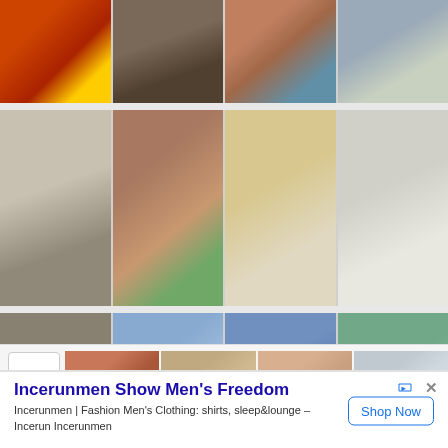[Figure (photo): Grid of travel/sightseeing photos arranged in 3 rows of 4 images each showing various Asian landmarks, architecture, and attractions including temples, towers, castles, and cityscapes]
[Figure (screenshot): Advertisement banner for Incerunmen fashion brand with title 'Incerunmen Show Men's Freedom', body text 'Incerunmen | Fashion Men's Clothing: shirts, sleep&lounge – Incerun Incerunmen', and a 'Shop Now' button]